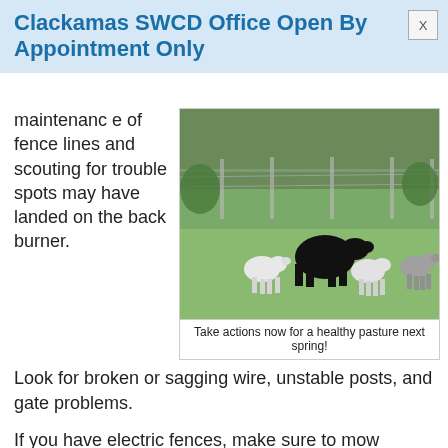Clackamas SWCD Office Open By Appointment Only
maintenance of fence lines and scouting for trouble spots may have landed on the back burner. Look for broken or sagging wire, unstable posts, and gate problems.
[Figure (photo): Cattle and sheep/lambs in a green pasture field with a wire fence in the background]
Take actions now for a healthy pasture next spring!
If you have electric fences, make sure to mow surrounding weeds and grasses that may short out the system. Clean solar panels to collect as much sunlight as possible.
Post any missing or damaged “no trespassing” or “no hunting” signs. Avoid hunters tragically mistaking